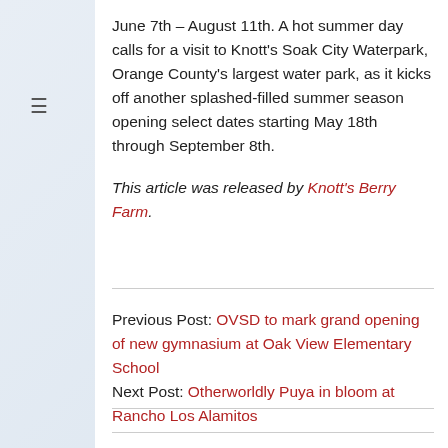June 7th – August 11th. A hot summer day calls for a visit to Knott's Soak City Waterpark, Orange County's largest water park, as it kicks off another splashed-filled summer season opening select dates starting May 18th through September 8th.
This article was released by Knott's Berry Farm.
Previous Post: OVSD to mark grand opening of new gymnasium at Oak View Elementary School
Next Post: Otherworldly Puya in bloom at Rancho Los Alamitos